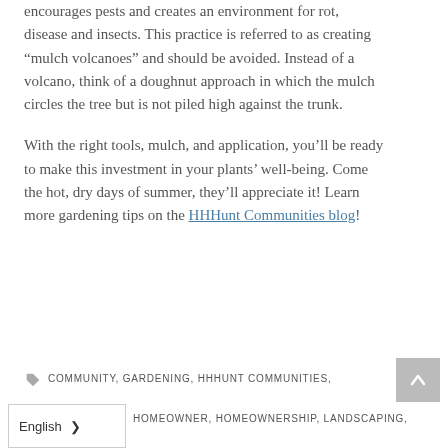encourages pests and creates an environment for rot, disease and insects. This practice is referred to as creating "mulch volcanoes" and should be avoided. Instead of a volcano, think of a doughnut approach in which the mulch circles the tree but is not piled high against the trunk.
With the right tools, mulch, and application, you'll be ready to make this investment in your plants' well-being. Come the hot, dry days of summer, they'll appreciate it! Learn more gardening tips on the HHHunt Communities blog!
COMMUNITY, GARDENING, HHHUNT COMMUNITIES, HOMEOWNER, HOMEOWNERSHIP, LANDSCAPING,